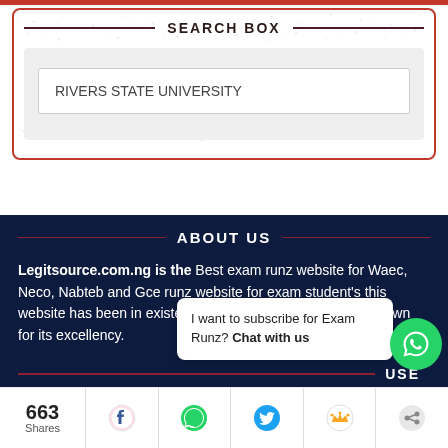SEARCH BOX
RIVERS STATE UNIVERSITY
ABOUT US
Legitsource.com.ng is the Best exam runz website for Waec, Neco, Nabteb and Gce runz website for exam student's this website has been in existence for over 10 years and it is known for its excellency.
I want to subscribe for Exam Runz? Chat with us
663 Shares